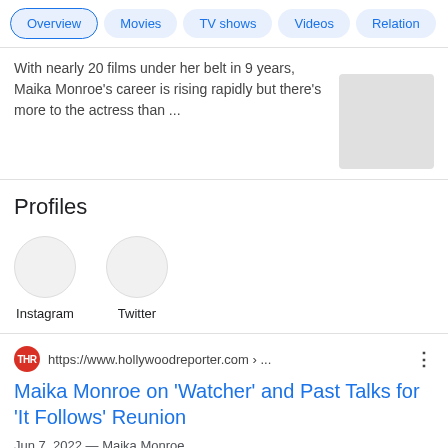Overview | Movies | TV shows | Videos | Relation
With nearly 20 films under her belt in 9 years, Maika Monroe's career is rising rapidly but there's more to the actress than ...
Profiles
Instagram
Twitter
https://www.hollywoodreporter.com › ...
Maika Monroe on 'Watcher' and Past Talks for 'It Follows' Reunion
Jun 7, 2022 — Maika Monroe